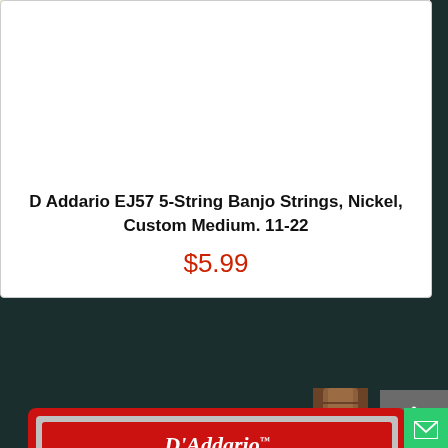[Figure (photo): D'Addario banjo strings product packaging — cream/ivory circular label design with purple ring, decorative cursive lines, text reading NICKEL PLATED STEEL and BRIGHT TONE on a light beige background]
D Addario EJ57 5-String Banjo Strings, Nickel, Custom Medium. 11-22
$5.99
[Figure (photo): D'Addario Prelude product packaging — red package with gray border frame, D'Addario script logo in white at top, vintage violin illustration in center, PRELUDE text at bottom in white serif letters on red background]